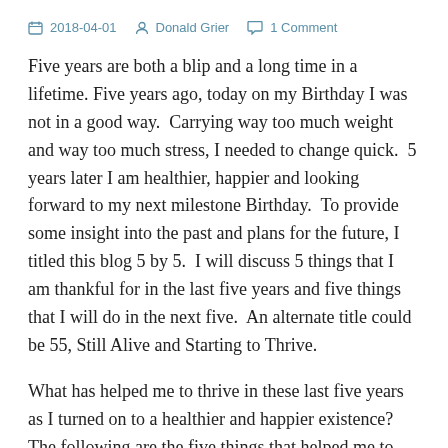2018-04-01   Donald Grier   1 Comment
Five years are both a blip and a long time in a lifetime. Five years ago, today on my Birthday I was not in a good way. Carrying way too much weight and way too much stress, I needed to change quick. 5 years later I am healthier, happier and looking forward to my next milestone Birthday. To provide some insight into the past and plans for the future, I titled this blog 5 by 5. I will discuss 5 things that I am thankful for in the last five years and five things that I will do in the next five. An alternate title could be 55, Still Alive and Starting to Thrive.
What has helped me to thrive in these last five years as I turned on to a healthier and happier existence? The following are the five things that helped me to shed over